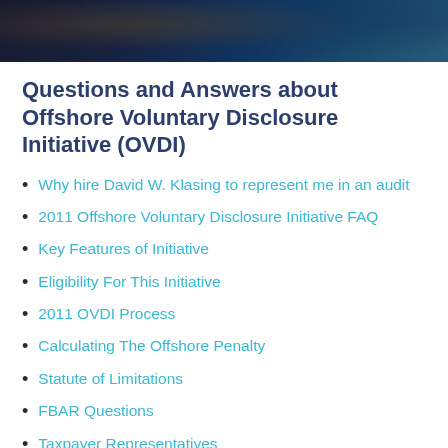[Figure (photo): Dark header image with blurred bokeh background in dark blue and brown tones]
Questions and Answers about Offshore Voluntary Disclosure Initiative (OVDI)
Why hire David W. Klasing to represent me in an audit
2011 Offshore Voluntary Disclosure Initiative FAQ
Key Features of Initiative
Eligibility For This Initiative
2011 OVDI Process
Calculating The Offshore Penalty
Statute of Limitations
FBAR Questions
Taxpayer Representatives
Case Resolution
What not to do!